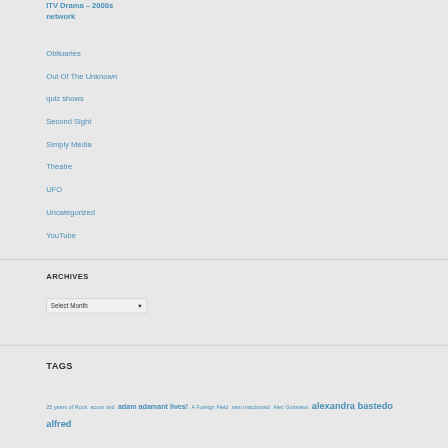ITV Drama – 2000s network
Obituaries
Out Of The Unknown
quiz shows
Second Sight
Simply Media
Theatre
UFO
Uncategorized
YouTube
ARCHIVES
Select Month
TAGS
25 years of Rock acorn dvd adam adamant lives! A Foreign Field aimi macdonald Alec Guinness alexandra bastedo alfred